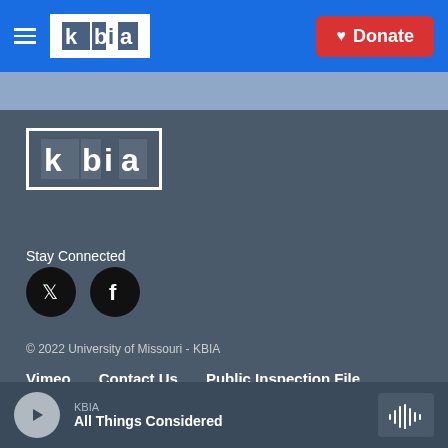[Figure (logo): KBIA radio station logo in white box with blue background header, hamburger menu icon on left]
[Figure (logo): Donate button with heart icon on red background in top right of header]
[Figure (logo): KBIA logo on dark gray footer background]
Stay Connected
[Figure (illustration): Twitter bird icon in black circle]
[Figure (illustration): Facebook f icon in black circle]
© 2022 University of Missouri - KBIA
Vimeo
Contact Us
Public Inspection File
KBIA
All Things Considered